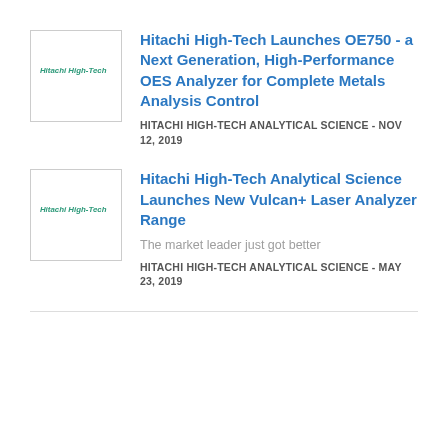[Figure (logo): Hitachi High-Tech logo in a bordered square box]
Hitachi High-Tech Launches OE750 - a Next Generation, High-Performance OES Analyzer for Complete Metals Analysis Control
HITACHI HIGH-TECH ANALYTICAL SCIENCE - NOV 12, 2019
[Figure (logo): Hitachi High-Tech logo in a bordered square box]
Hitachi High-Tech Analytical Science Launches New Vulcan+ Laser Analyzer Range
The market leader just got better
HITACHI HIGH-TECH ANALYTICAL SCIENCE - MAY 23, 2019